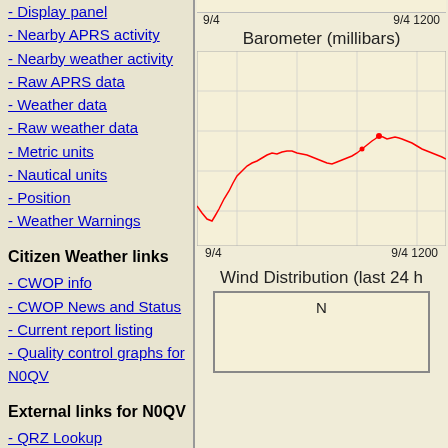- Display panel
- Nearby APRS activity
- Nearby weather activity
- Raw APRS data
- Weather data
- Raw weather data
- Metric units
- Nautical units
- Position
- Weather Warnings
Citizen Weather links
- CWOP info
- CWOP News and Status
- Current report listing
- Quality control graphs for N0QV
External links for N0QV
- QRZ Lookup
- MSN map (North America)
Barometer (millibars)
[Figure (continuous-plot): Barometer (millibars) time series line chart showing barometric pressure readings on 9/4, with x-axis labels '9/4' and '9/4 1200'. A red line traces pressure values, dipping low early then recovering with a peak around midday before declining again.]
Wind Distribution (last 24 h
[Figure (other): Wind distribution compass rose diagram with 'N' label at top, partially visible, showing wind direction distribution for last 24 hours.]